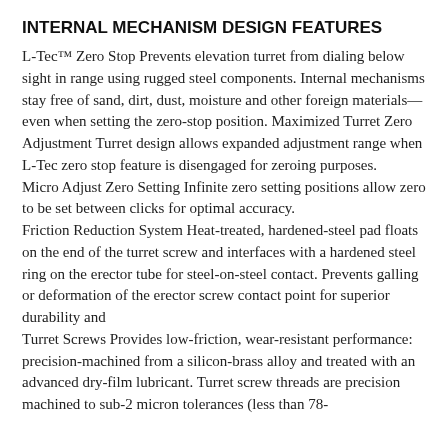INTERNAL MECHANISM DESIGN FEATURES
L-Tec™ Zero Stop Prevents elevation turret from dialing below sight in range using rugged steel components. Internal mechanisms stay free of sand, dirt, dust, moisture and other foreign materials—even when setting the zero-stop position. Maximized Turret Zero Adjustment Turret design allows expanded adjustment range when L-Tec zero stop feature is disengaged for zeroing purposes.
Micro Adjust Zero Setting Infinite zero setting positions allow zero to be set between clicks for optimal accuracy.
Friction Reduction System Heat-treated, hardened-steel pad floats on the end of the turret screw and interfaces with a hardened steel ring on the erector tube for steel-on-steel contact. Prevents galling or deformation of the erector screw contact point for superior durability and
Turret Screws Provides low-friction, wear-resistant performance: precision-machined from a silicon-brass alloy and treated with an advanced dry-film lubricant. Turret screw threads are precision machined to sub-2 micron tolerances (less than 78-